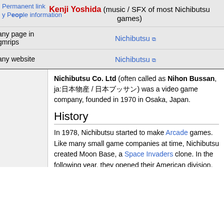Permanent link  Page information
Kenji Yoshida (music / SFX of most Nichibutsu games)
| Label | Value |
| --- | --- |
| any page in gmrips | Nichibutsu |
| any website | Nichibutsu |
Nichibutsu Co. Ltd (often called as Nihon Bussan, ja:日本物産 / 日本ブッサン) was a video game company, founded in 1970 in Osaka, Japan.
History
In 1978, Nichibutsu started to make Arcade games. Like many small game companies at time, Nichibutsu created Moon Base, a Space Invaders clone. In the following year, they opened their American division.